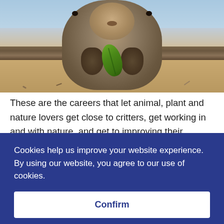[Figure (photo): A quokka (small furry marsupial) holding and eating a green leaf, photographed close-up on a sandy beach with water visible in the background.]
These are the careers that let animal, plant and nature lovers get close to critters, get working in and with nature, and get to improving their beloved ecosystems.
The Bachelor of Science Botany major covers your interest
Cookies help us improve your website experience. By using our website, you agree to our use of cookies.
Confirm